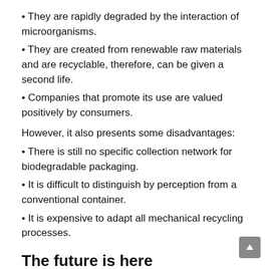• They are rapidly degraded by the interaction of microorganisms.
• They are created from renewable raw materials and are recyclable, therefore, can be given a second life.
• Companies that promote its use are valued positively by consumers.
However, it also presents some disadvantages:
• There is still no specific collection network for biodegradable packaging.
• It is difficult to distinguish by perception from a conventional container.
• It is expensive to adapt all mechanical recycling processes.
The future is here
Within the packaging area there are numerous businesses opportunities with great innovation from a scientific and